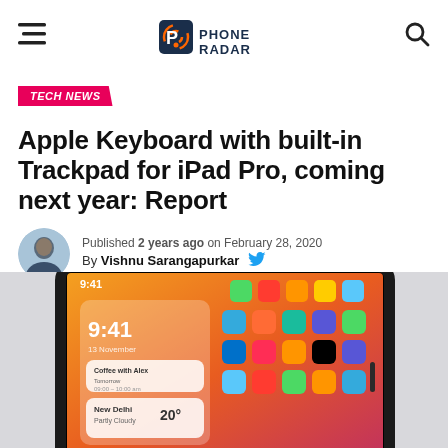Phone Radar
TECH NEWS
Apple Keyboard with built-in Trackpad for iPad Pro, coming next year: Report
Published 2 years ago on February 28, 2020
By Vishnu Sarangapurkar
[Figure (photo): iPad showing iOS home screen with apps and widgets, in a dark space gray frame]